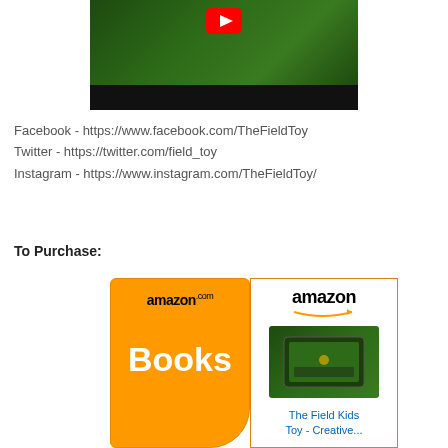[Figure (screenshot): YouTube video thumbnail showing toys on grass background with YouTube play button icon, partially cropped at top]
Facebook - https://www.facebook.com/TheFieldToy
Twitter - https://twitter.com/field_toy
Instagram - https://www.instagram.com/TheFieldToy/
To Purchase:
[Figure (screenshot): Amazon Books logo button (orange background with white Books text) next to Amazon product listing showing The Field Kids Toy - Creative...]